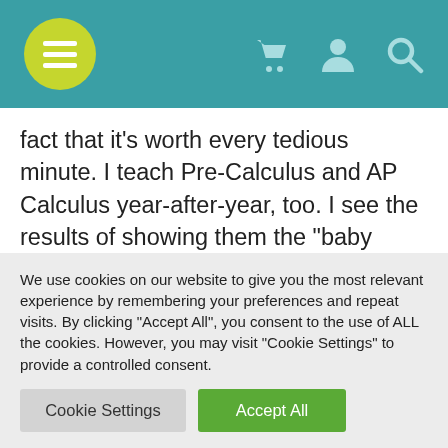[Navigation bar with menu, cart, user, and search icons]
fact that it's worth every tedious minute. I teach Pre-Calculus and AP Calculus year-after-year, too. I see the results of showing them the "baby steps" in Algebra 2. It might seem like a wasted effort; but truly, it is not.
If you have never taught linear regression
We use cookies on our website to give you the most relevant experience by remembering your preferences and repeat visits. By clicking "Accept All", you consent to the use of ALL the cookies. However, you may visit "Cookie Settings" to provide a controlled consent.